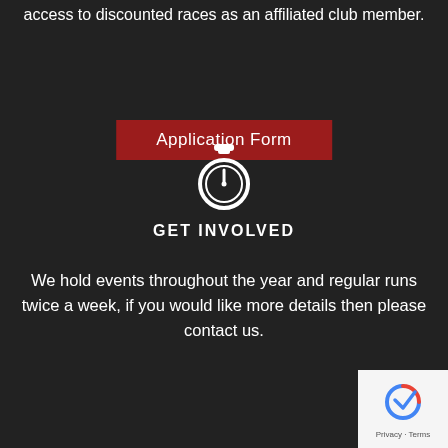access to discounted races as an affiliated club member.
Application Form
[Figure (illustration): White stopwatch/timer icon on dark background]
GET INVOLVED
We hold events throughout the year and regular runs twice a week, if you would like more details then please contact us.
What We Do
Contact Us
[Figure (logo): Google reCAPTCHA badge with Privacy and Terms links]